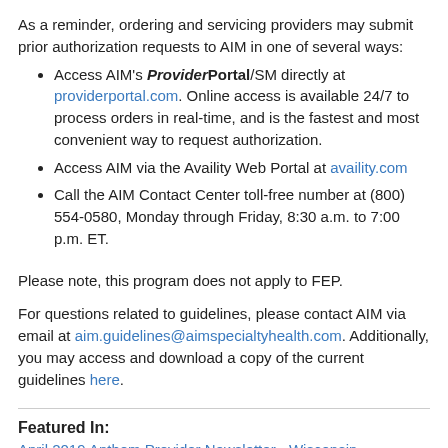As a reminder, ordering and servicing providers may submit prior authorization requests to AIM in one of several ways:
Access AIM's ProviderPortal/SM directly at providerportal.com. Online access is available 24/7 to process orders in real-time, and is the fastest and most convenient way to request authorization.
Access AIM via the Availity Web Portal at availity.com
Call the AIM Contact Center toll-free number at (800) 554-0580, Monday through Friday, 8:30 a.m. to 7:00 p.m. ET.
Please note, this program does not apply to FEP.
For questions related to guidelines, please contact AIM via email at aim.guidelines@aimspecialtyhealth.com. Additionally, you may access and download a copy of the current guidelines here.
Featured In:
April 2019 Anthem Provider Newsletter - Wisconsin